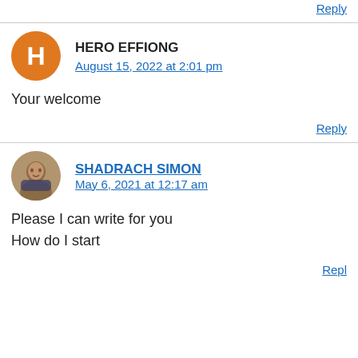Reply
HERO EFFIONG
August 15, 2022 at 2:01 pm
Your welcome
Reply
SHADRACH SIMON
May 6, 2021 at 12:17 am
Please I can write for you
How do I start
Reply